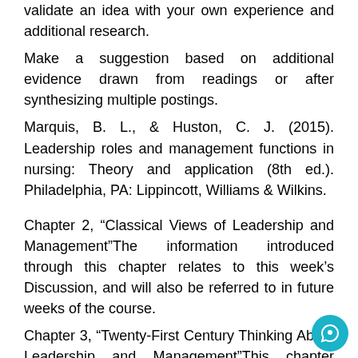validate an idea with your own experience and additional research.
Make a suggestion based on additional evidence drawn from readings or after synthesizing multiple postings.
Marquis, B. L., & Huston, C. J. (2015). Leadership roles and management functions in nursing: Theory and application (8th ed.). Philadelphia, PA: Lippincott, Williams & Wilkins.
Chapter 2, “Classical Views of Leadership and Management”The information introduced through this chapter relates to this week’s Discussion, and will also be referred to in future weeks of the course.
Chapter 3, “Twenty-First Century Thinking About Leadership and Management”This chapter examines new thinking about leadership and management and how this may influence the future of nursing.
Review Chapter 12, “Organizational Structure”
Allmark P., Baxter S., Goyder E., Guillaume L., &